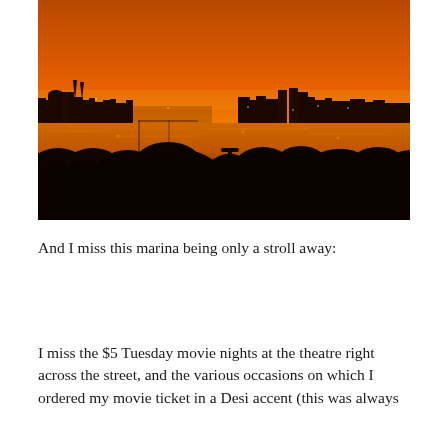[Figure (photo): Sunset photo of a city skyline silhouetted against a vivid orange sky, reflected in a calm body of water, with dark tree silhouettes in the foreground.]
And I miss this marina being only a stroll away:
I miss the $5 Tuesday movie nights at the theatre right across the street, and the various occasions on which I ordered my movie ticket in a Desi accent (this was always